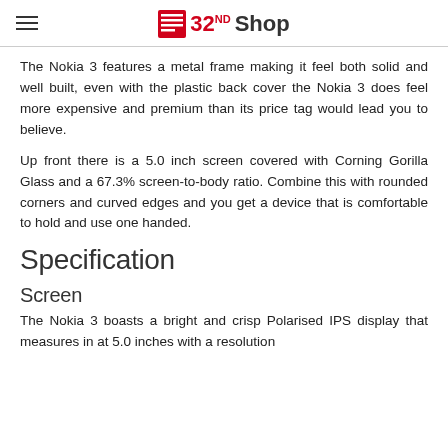32ND Shop
The Nokia 3 features a metal frame making it feel both solid and well built, even with the plastic back cover the Nokia 3 does feel more expensive and premium than its price tag would lead you to believe.
Up front there is a 5.0 inch screen covered with Corning Gorilla Glass and a 67.3% screen-to-body ratio. Combine this with rounded corners and curved edges and you get a device that is comfortable to hold and use one handed.
Specification
Screen
The Nokia 3 boasts a bright and crisp Polarised IPS display that measures in at 5.0 inches with a resolution